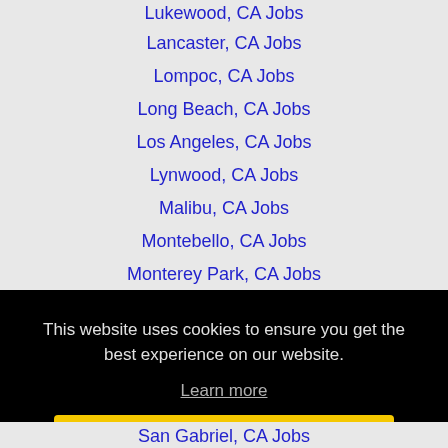Lukewood, CA Jobs
Lancaster, CA Jobs
Lompoc, CA Jobs
Long Beach, CA Jobs
Los Angeles, CA Jobs
Lynwood, CA Jobs
Malibu, CA Jobs
Montebello, CA Jobs
Monterey Park, CA Jobs
Norwalk, CA Jobs
This website uses cookies to ensure you get the best experience on our website.
Learn more
Got it!
San Gabriel, CA Jobs